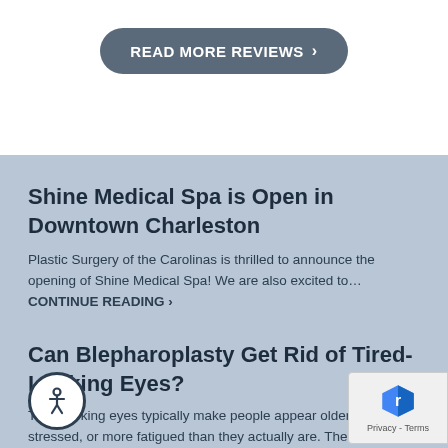READ MORE REVIEWS >
Shine Medical Spa is Open in Downtown Charleston
Plastic Surgery of the Carolinas is thrilled to announce the opening of Shine Medical Spa! We are also excited to… CONTINUE READING >
Can Blepharoplasty Get Rid of Tired-Looking Eyes?
Tired-looking eyes typically make people appear older, more stressed, or more fatigued than they actually are. The natural aging